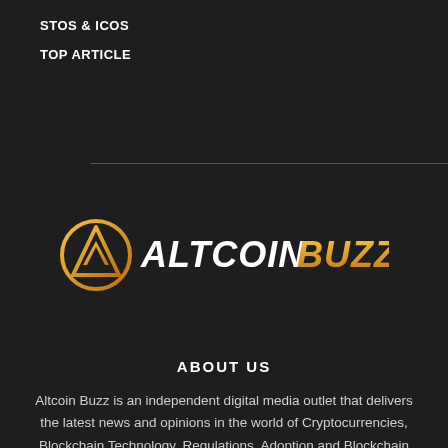STOS & ICOS
TOP ARTICLE
[Figure (logo): Altcoin Buzz logo: gold circular triangle icon on left, text ALTCOIN in white bold italic and BUZZ in gold bold italic on right]
ABOUT US
Altcoin Buzz is an independent digital media outlet that delivers the latest news and opinions in the world of Cryptocurrencies, Blockchain Technology, Regulations, Adoption and Blockchain Gaming. Altcoin Buzz has an active, engaged and organically grown